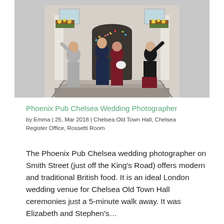[Figure (photo): Wedding photo outside a grand building. A couple stands on steps at an entrance; guests on either side throw confetti. The groom wears a dark suit, the bride a dark red outfit holding white flowers. Two guests, one in grey suit and one in black, celebrate on either side.]
Phoenix Pub Chelsea Wedding Photographer
by Emma | 25, Mar 2018 | Chelsea Old Town Hall, Chelsea Register Office, Rossetti Room
The Phoenix Pub Chelsea wedding photographer on Smith Street (just off the King's Road) offers modern and traditional British food. It is an ideal London wedding venue for Chelsea Old Town Hall ceremonies just a 5-minute walk away. It was Elizabeth and Stephen's...